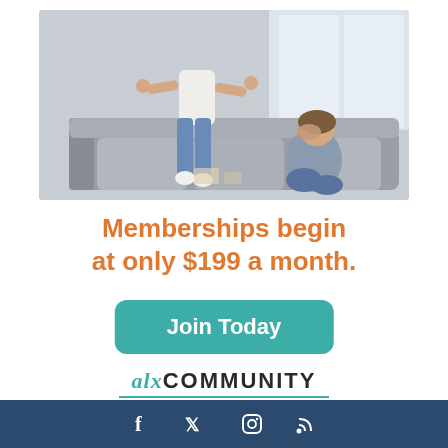[Figure (photo): A child jumping on a sofa while a stressed adult woman sits with head in hands on the same couch, indoor living room setting]
Memberships begin at only $199 a month.
Join Today
[Figure (logo): alxCOMMUNITY logo with teal color and tagline 'work differently']
Social media icons: Facebook, Twitter, Instagram, RSS